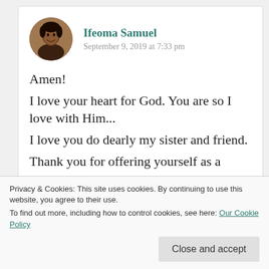[Figure (photo): Circular avatar photo of Ifeoma Samuel, a woman smiling]
Ifeoma Samuel
September 9, 2019 at 7:33 pm
Amen!
I love your heart for God. You are so I love with Him...
I love you do dearly my sister and friend.
Thank you for offering yourself as a
★ Liked by 2 people
Privacy & Cookies: This site uses cookies. By continuing to use this website, you agree to their use.
To find out more, including how to control cookies, see here: Our Cookie Policy
Close and accept